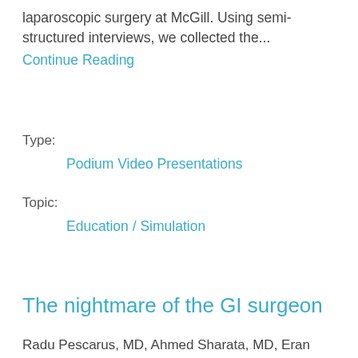laparoscopic surgery at McGill. Using semi-structured interviews, we collected the...
Continue Reading
Type:
Podium Video Presentations
Topic:
Education / Simulation
The nightmare of the GI surgeon
Radu Pescarus, MD, Ahmed Sharata, MD, Eran